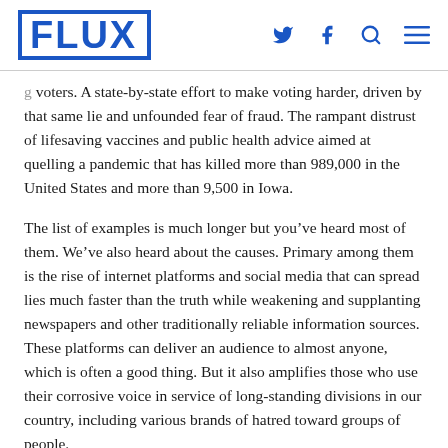FLUX
voters. A state-by-state effort to make voting harder, driven by that same lie and unfounded fear of fraud. The rampant distrust of lifesaving vaccines and public health advice aimed at quelling a pandemic that has killed more than 989,000 in the United States and more than 9,500 in Iowa.
The list of examples is much longer but you’ve heard most of them. We’ve also heard about the causes. Primary among them is the rise of internet platforms and social media that can spread lies much faster than the truth while weakening and supplanting newspapers and other traditionally reliable information sources. These platforms can deliver an audience to almost anyone, which is often a good thing. But it also amplifies those who use their corrosive voice in service of long-standing divisions in our country, including various brands of hatred toward groups of people.